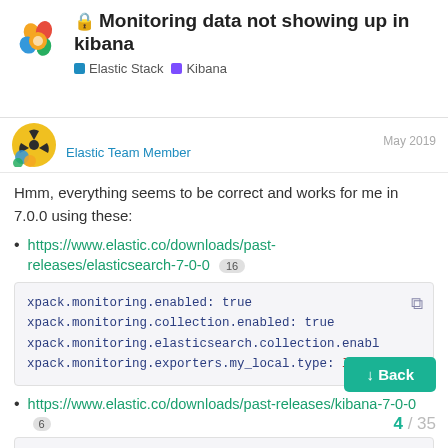Monitoring data not showing up in kibana — Elastic Stack | Kibana
Elastic Team Member
Hmm, everything seems to be correct and works for me in 7.0.0 using these:
https://www.elastic.co/downloads/past-releases/elasticsearch-7-0-0  16
xpack.monitoring.enabled: true
xpack.monitoring.collection.enabled: true
xpack.monitoring.elasticsearch.collection.enabl
xpack.monitoring.exporters.my_local.type: local
https://www.elastic.co/downloads/past-releases/kibana-7-0-0  6
xpack.monitoring.ui.enabled: true
xpack.monitoring.enabled: true
xpack.monitoring.elasticsearch
4 / 35